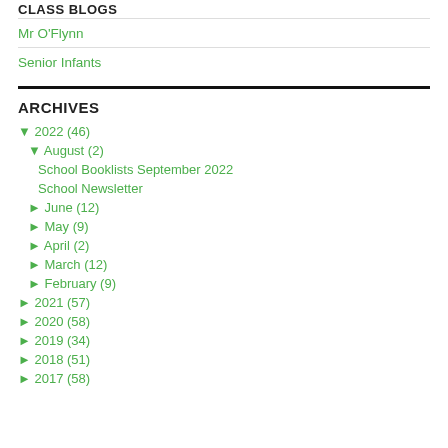CLASS BLOGS
Mr O'Flynn
Senior Infants
ARCHIVES
▼ 2022 (46)
▼ August (2)
School Booklists September 2022
School Newsletter
► June (12)
► May (9)
► April (2)
► March (12)
► February (9)
► 2021 (57)
► 2020 (58)
► 2019 (34)
► 2018 (51)
► 2017 (58)